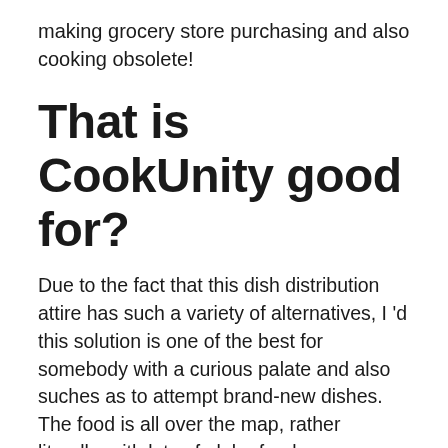making grocery store purchasing and also cooking obsolete!
That is CookUnity good for?
Due to the fact that this dish distribution attire has such a variety of alternatives, I 'd this solution is one of the best for somebody with a curious palate and also suches as to attempt brand-new dishes. The food is all over the map, rather literally, with lots of globe foods represented, however there is consistency in high quality and all of the recipes I tried were at least strong or better.
There are plenty of healthy and balanced